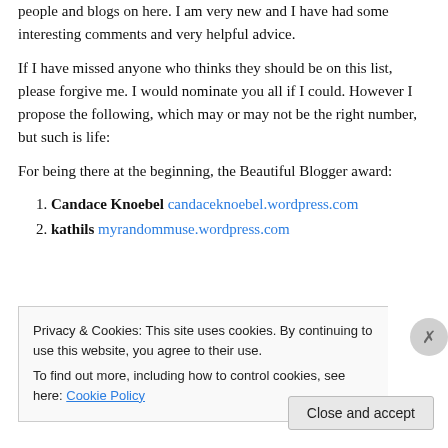people and blogs on here. I am very new and I have had some interesting comments and very helpful advice.
If I have missed anyone who thinks they should be on this list, please forgive me. I would nominate you all if I could. However I propose the following, which may or may not be the right number, but such is life:
For being there at the beginning, the Beautiful Blogger award:
1. Candace Knoebel candaceknoebel.wordpress.com
2. kathils myrandommuse.wordpress.com
Privacy & Cookies: This site uses cookies. By continuing to use this website, you agree to their use.
To find out more, including how to control cookies, see here: Cookie Policy
Close and accept